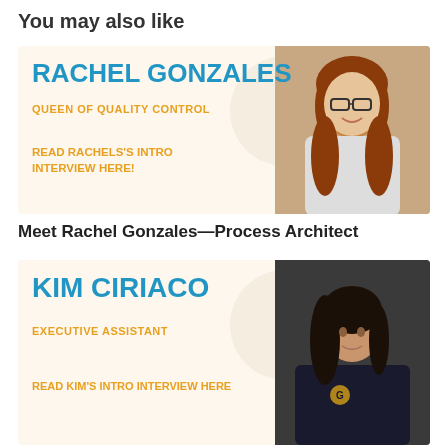You may also like
[Figure (infographic): Banner card for Rachel Gonzales with blue bold name text, orange subtitle 'QUEEN OF QUALITY CONTROL', orange CTA 'READ RACHELS’S INTRO INTERVIEW HERE!', and photo of a red-haired woman with glasses on a beige background]
Meet Rachel Gonzales—Process Architect
[Figure (infographic): Banner card for Kim Ciriaco with blue bold name text, orange subtitle 'EXECUTIVE ASSISTANT', orange CTA 'READ KIM’S INTRO INTERVIEW HERE', and photo of a dark-haired woman in a dark jacket on a beige background]